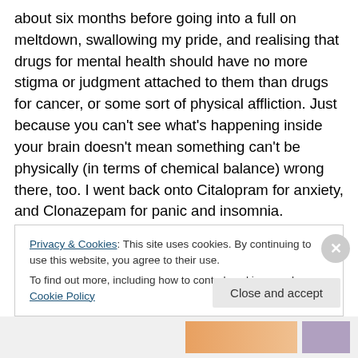about six months before going into a full on meltdown, swallowing my pride, and realising that drugs for mental health should have no more stigma or judgment attached to them than drugs for cancer, or some sort of physical affliction. Just because you can't see what's happening inside your brain doesn't mean something can't be physically (in terms of chemical balance) wrong there, too. I went back onto Citalopram for anxiety, and Clonazepam for panic and insomnia. Naturally, I had to stop any potentially harmful drugs while pregnant, so I came off cold turkey. A) This is not the way to ease into things. B)
Privacy & Cookies: This site uses cookies. By continuing to use this website, you agree to their use.
To find out more, including how to control cookies, see here: Cookie Policy
Close and accept